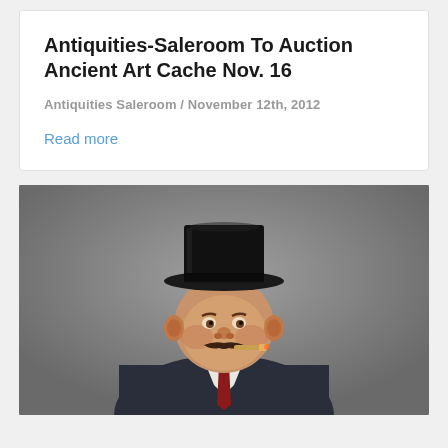Antiquities-Saleroom To Auction Ancient Art Cache Nov. 16
Antiquities Saleroom / November 12th, 2012
Read more
[Figure (photo): A painted ceramic or carved figurine bust of a stout man wearing a black top hat, suit jacket, white collar, and red tie, with a mustache and cigar, photographed against a gray background.]